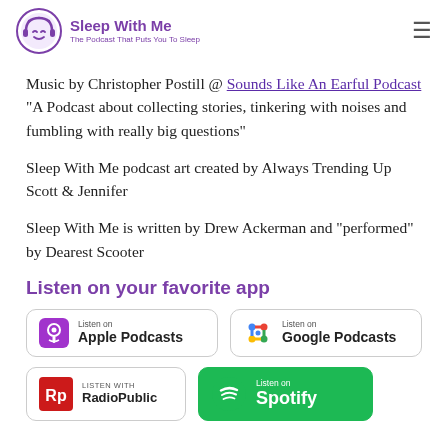Sleep With Me — The Podcast That Puts You To Sleep
If you struggle with insomnia or just getting a good night's rest, you've found the podcast for you.
Music by Christopher Postill @ Sounds Like An Earful Podcast "A Podcast about collecting stories, tinkering with noises and fumbling with really big questions"
Sleep With Me podcast art created by Always Trending Up Scott & Jennifer
Sleep With Me is written by Drew Ackerman and "performed" by Dearest Scooter
Listen on your favorite app
[Figure (logo): Apple Podcasts badge — Listen on Apple Podcasts]
[Figure (logo): Google Podcasts badge — Listen on Google Podcasts]
[Figure (logo): RadioPublic badge — Listen with RadioPublic]
[Figure (logo): Spotify badge — Listen on Spotify]